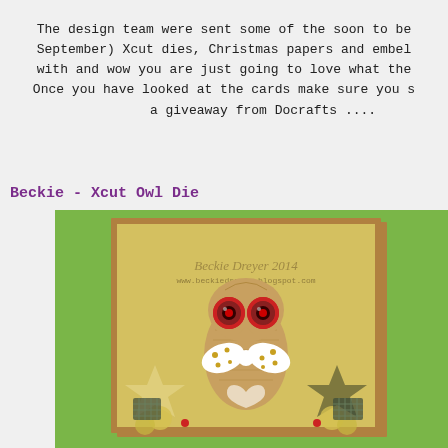The design team were sent some of the soon to be (September) Xcut dies, Christmas papers and embellishments to create with and wow you are just going to love what they created! Once you have looked at the cards make sure you scroll down for a giveaway from Docrafts ....
Beckie - Xcut Owl Die
[Figure (photo): A handmade craft card featuring an Xcut owl die cut on a yellow-green textured background, with decorative paper owl having red circular eyes, a polka dot bow, star shapes, and flower embellishments. The card is displayed against a green background. Watermark reads 'Beckie Dreyer 2014' and 'www.beckiedreyer.blogspot.com'.]